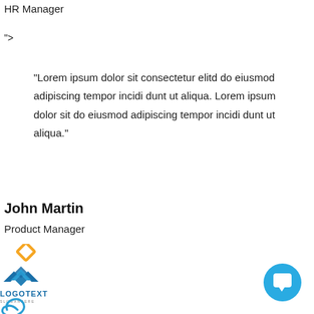HR Manager
">
“Lorem ipsum dolor sit consectetur elitd do eiusmod adipiscing tempor incidi dunt ut aliqua. Lorem ipsum dolor sit do eiusmod adipiscing tempor incidi dunt ut aliqua.”
John Martin
Product Manager
[Figure (logo): Two company logos: one geometric diamond/chevron logo with 'LOGOTEXT' and 'SLOGANHERE' text, and one 'PowerSource' logo with 'YOUR BUSINESS TAGLINE GOES HERE' text, plus a partial third logo at bottom]
[Figure (other): Teal/blue circular chat button with speech bubble icon]